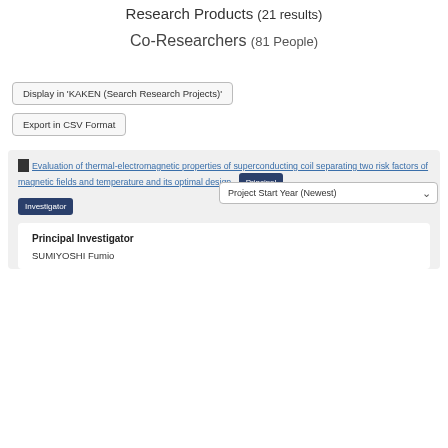Research Products (21 results)
Co-Researchers (81 People)
Display in 'KAKEN (Search Research Projects)'
Export in CSV Format
Project Start Year (Newest)
Evaluation of thermal-electromagnetic properties of superconducting coil separating two risk factors of magnetic fields and temperature and its optimal design  Principal Investigator
Principal Investigator
SUMIYOSHI Fumio